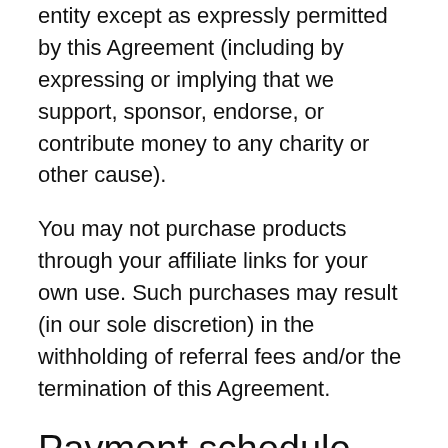entity except as expressly permitted by this Agreement (including by expressing or implying that we support, sponsor, endorse, or contribute money to any charity or other cause).
You may not purchase products through your affiliate links for your own use. Such purchases may result (in our sole discretion) in the withholding of referral fees and/or the termination of this Agreement.
Payment schedule
As long as your current affiliate earning are over $30, you'll be paid each month. If...